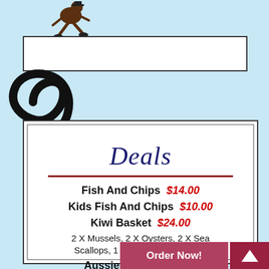[Figure (illustration): Cartoon figure of a running person (chef or delivery character) at top left, with a swirl/spiral graphic below on the left side]
Deals
Fish And Chips   $14.00
Kids Fish And Chips   $10.00
Kiwi Basket   $24.00
2 X Mussels, 2 X Oysters, 2 X Sea Scallops, 1 X Kids Fish, $3 Chips
Aussie Basket   $24.00